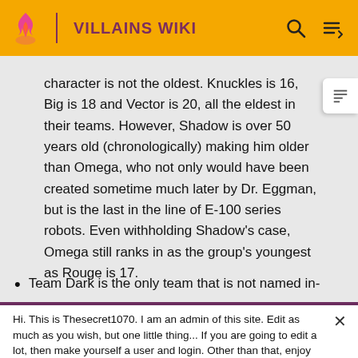VILLAINS WIKI
character is not the oldest. Knuckles is 16, Big is 18 and Vector is 20, all the eldest in their teams. However, Shadow is over 50 years old (chronologically) making him older than Omega, who not only would have been created sometime much later by Dr. Eggman, but is the last in the line of E-100 series robots. Even withholding Shadow's case, Omega still ranks in as the group's youngest as Rouge is 17.
Team Dark is the only team that is not named in-
Hi. This is Thesecret1070. I am an admin of this site. Edit as much as you wish, but one little thing... If you are going to edit a lot, then make yourself a user and login. Other than that, enjoy Villains Wiki!!!